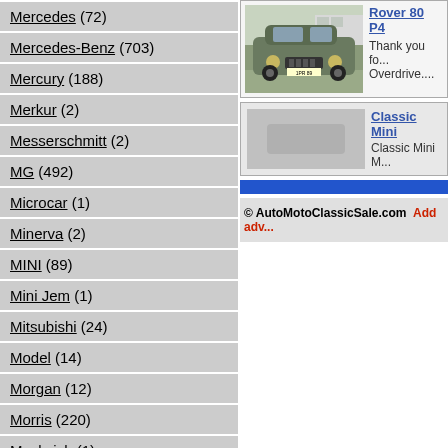Mercedes (72)
Mercedes-Benz (703)
Mercury (188)
Merkur (2)
Messerschmitt (2)
MG (492)
Microcar (1)
Minerva (2)
MINI (89)
Mini Jem (1)
Mitsubishi (24)
Model (14)
Morgan (12)
Morris (220)
Moskvich (1)
Muntz (1)
Nash (23)
[Figure (photo): Classic Rover 80 P4 car, gray/green color, front view, parked outdoors]
Rover 80 P4
Thank you fo... Overdrive....
Classic Mini
Classic Mini M...
© AutoMotoClassicSale.com  Add adv...